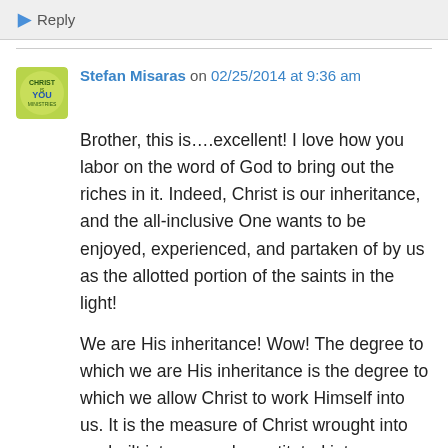Reply
Stefan Misaras on 02/25/2014 at 9:36 am
Brother, this is….excellent! I love how you labor on the word of God to bring out the riches in it. Indeed, Christ is our inheritance, and the all-inclusive One wants to be enjoyed, experienced, and partaken of by us as the allotted portion of the saints in the light!
We are His inheritance! Wow! The degree to which we are His inheritance is the degree to which we allow Christ to work Himself into us. It is the measure of Christ wrought into us, built into us, and constituted into our being that is pleasing to God. God delights in His Son, and